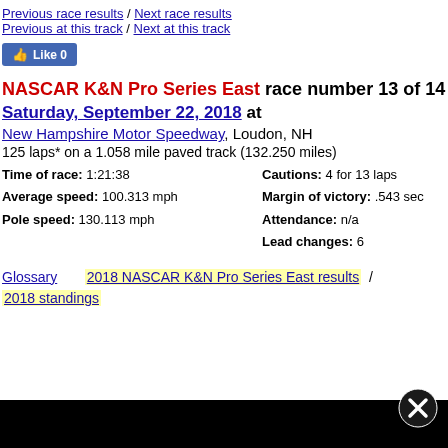Previous race results / Next race results
Previous at this track / Next at this track
[Figure (other): Facebook Like button showing 0 likes]
NASCAR K&N Pro Series East race number 13 of 14
Saturday, September 22, 2018 at
New Hampshire Motor Speedway, Loudon, NH
125 laps* on a 1.058 mile paved track (132.250 miles)
Time of race: 1:21:38
Average speed: 100.313 mph
Pole speed: 130.113 mph
Cautions: 4 for 13 laps
Margin of victory: .543 sec
Attendance: n/a
Lead changes: 6
Glossary   2018 NASCAR K&N Pro Series East results / 2018 standings